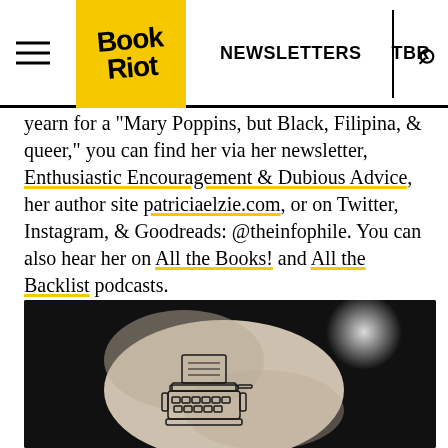Book Riot | NEWSLETTERS  TBR
yearn for a "Mary Poppins, but Black, Filipina, & queer," you can find her via her newsletter, Enthusiastic Encouragement & Dubious Advice, her author site patriciaelzie.com, or on Twitter, Instagram, & Goodreads: @theinfophile. You can also hear her on All the Books! and All the Backlist podcasts.
[Figure (photo): Black and white close-up photo of a person's arm/wrist with a typewriter tattoo on the inner wrist. The tattoo depicts a vintage manual typewriter in fine line ink. The background is dark/black.]